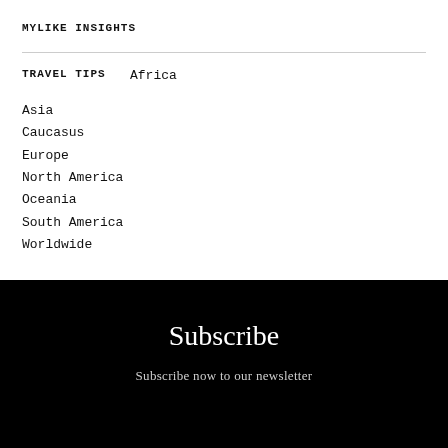MYLIKE INSIGHTS
TRAVEL TIPS
Africa
Asia
Caucasus
Europe
North America
Oceania
South America
Worldwide
Subscribe
Subscribe now to our newsletter